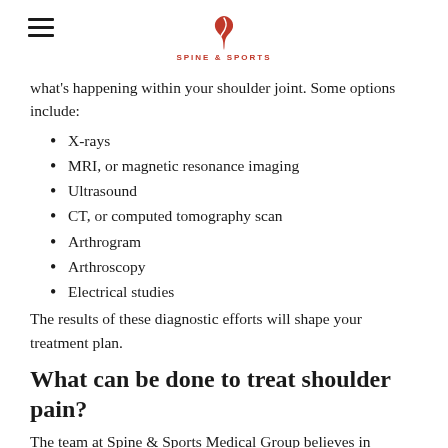Spine & Sports Medical Group logo and navigation
what's happening within your shoulder joint. Some options include:
X-rays
MRI, or magnetic resonance imaging
Ultrasound
CT, or computed tomography scan
Arthrogram
Arthroscopy
Electrical studies
The results of these diagnostic efforts will shape your treatment plan.
What can be done to treat shoulder pain?
The team at Spine & Sports Medical Group believes in finding the best possible treatment path for each individual in their care. Customized treatment plans focus